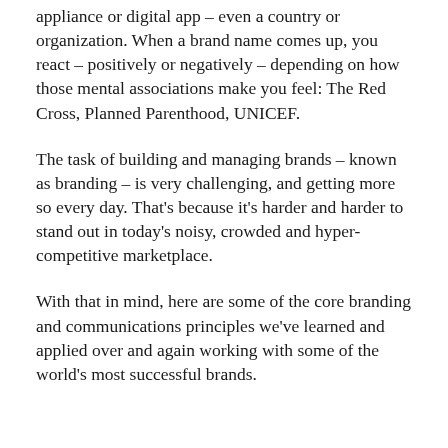appliance or digital app – even a country or organization. When a brand name comes up, you react – positively or negatively – depending on how those mental associations make you feel: The Red Cross, Planned Parenthood, UNICEF.
The task of building and managing brands – known as branding – is very challenging, and getting more so every day. That's because it's harder and harder to stand out in today's noisy, crowded and hyper-competitive marketplace.
With that in mind, here are some of the core branding and communications principles we've learned and applied over and again working with some of the world's most successful brands.